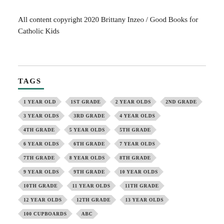All content copyright 2020 Brittany Inzeo / Good Books for Catholic Kids
TAGS
1 YEAR OLD
1ST GRADE
2 YEAR OLDS
2ND GRADE
3 YEAR OLDS
3RD GRADE
4 YEAR OLDS
4TH GRADE
5 YEAR OLDS
5TH GRADE
6 YEAR OLDS
6TH GRADE
7 YEAR OLDS
7TH GRADE
8 YEAR OLDS
8TH GRADE
9 YEAR OLDS
9TH GRADE
10 YEAR OLDS
10TH GRADE
11 YEAR OLDS
11TH GRADE
12 YEAR OLDS
12TH GRADE
13 YEAR OLDS
100 CUPBOARDS
ABC